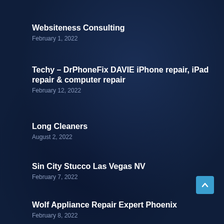Websiteness Consulting
February 1, 2022
Techy – DrPhoneFix DAVIE iPhone repair, iPad repair & computer repair
February 12, 2022
Long Cleaners
August 2, 2022
Sin City Stucco Las Vegas NV
February 7, 2022
Wolf Appliance Repair Expert Phoenix
February 8, 2022